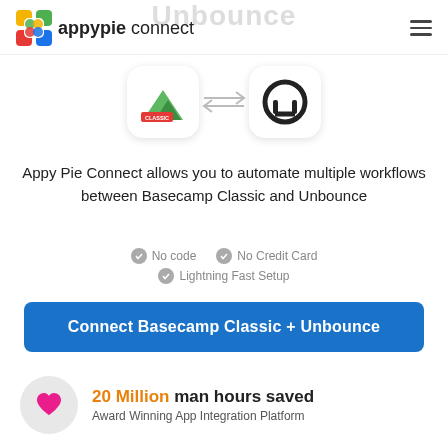appypie connect
[Figure (logo): Basecamp Classic logo and Unbounce logo connected by arrows]
Appy Pie Connect allows you to automate multiple workflows between Basecamp Classic and Unbounce
No code
No Credit Card
Lightning Fast Setup
Connect Basecamp Classic + Unbounce
20 Million man hours saved
Award Winning App Integration Platform